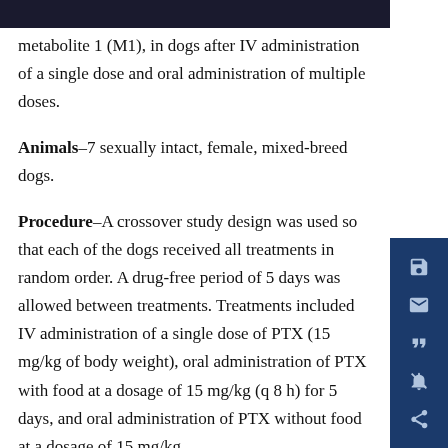metabolite 1 (M1), in dogs after IV administration of a single dose and oral administration of multiple doses.
Animals–7 sexually intact, female, mixed-breed dogs.
Procedure–A crossover study design was used so that each of the dogs received all treatments in random order. A drug-free period of 5 days was allowed between treatments. Treatments included IV administration of a single dose of PTX (15 mg/kg of body weight), oral administration of PTX with food at a dosage of 15 mg/kg (q 8 h) for 5 days, and oral administration of PTX without food at a dosage of 15 mg/kg